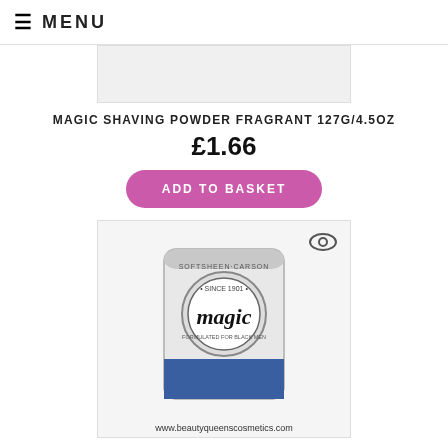≡ MENU
[Figure (photo): Top portion of product image (cropped)]
MAGIC SHAVING POWDER FRAGRANT 127G/4.5OZ
£1.66
ADD TO BASKET
[Figure (photo): Magic Shaving Powder can (Softsheen-Carson, Since 1901) with eye/view icon and website www.beautyqueenscosmetics.com at bottom]